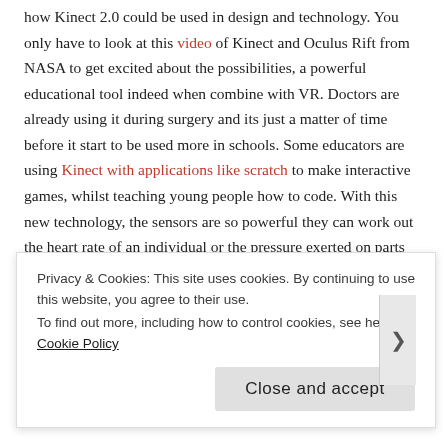how Kinect 2.0 could be used in design and technology. You only have to look at this video of Kinect and Oculus Rift from NASA to get excited about the possibilities, a powerful educational tool indeed when combine with VR. Doctors are already using it during surgery and its just a matter of time before it start to be used more in schools. Some educators are using Kinect with applications like scratch to make interactive games, whilst teaching young people how to code. With this new technology, the sensors are so powerful they can work out the heart rate of an individual or the pressure exerted on parts the body. PE, Games or Science anyone? This is another example of the gaming world crossing over into education.
Share this:
Share
Privacy & Cookies: This site uses cookies. By continuing to use this website, you agree to their use.
To find out more, including how to control cookies, see here: Cookie Policy
Close and accept